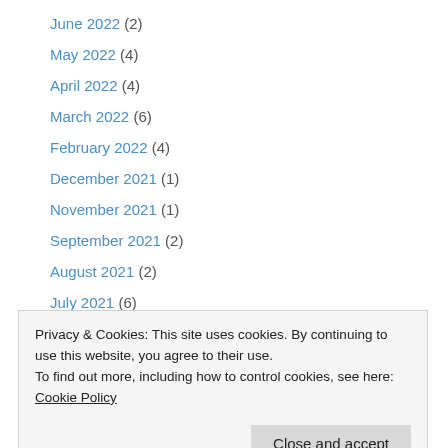June 2022 (2)
May 2022 (4)
April 2022 (4)
March 2022 (6)
February 2022 (4)
December 2021 (1)
November 2021 (1)
September 2021 (2)
August 2021 (2)
July 2021 (6)
June 2021 (9)
May 2021 (10)
April 2021 (3)
Privacy & Cookies: This site uses cookies. By continuing to use this website, you agree to their use.
To find out more, including how to control cookies, see here: Cookie Policy
November 2020 (3)